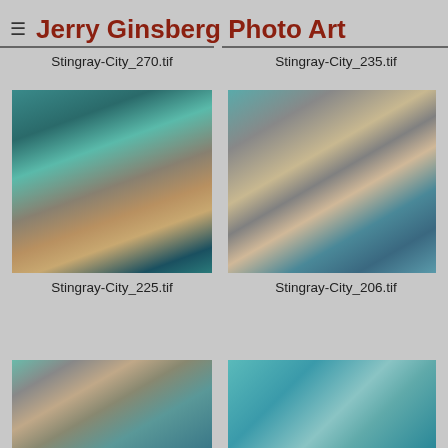Jerry Ginsberg Photo Art
Stingray-City_270.tif
Stingray-City_235.tif
[Figure (photo): Person in water with stingray draped over their back, viewed from behind, turquoise water]
[Figure (photo): Group of people in shallow water surrounding a stingray, some holding cameras, man in white holding the ray]
Stingray-City_225.tif
Stingray-City_206.tif
[Figure (photo): Crowd of people in water at Stingray City, partially visible at bottom of page]
[Figure (photo): Open water/ocean scene at Stingray City, partially visible at bottom of page]